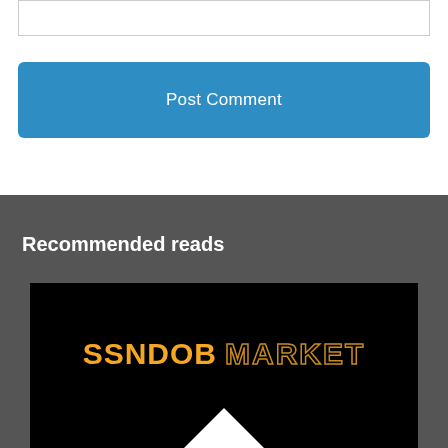Post Comment
Recommended reads
[Figure (logo): SSNDOB MARKET logo on black background with orange bold text for SSNDOB and outlined/hollow text for MARKET, with a white mountain shape at the bottom]